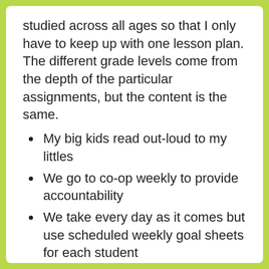studied across all ages so that I only have to keep up with one lesson plan. The different grade levels come from the depth of the particular assignments, but the content is the same.
My big kids read out-loud to my littles
We go to co-op weekly to provide accountability
We take every day as it comes but use scheduled weekly goal sheets for each student